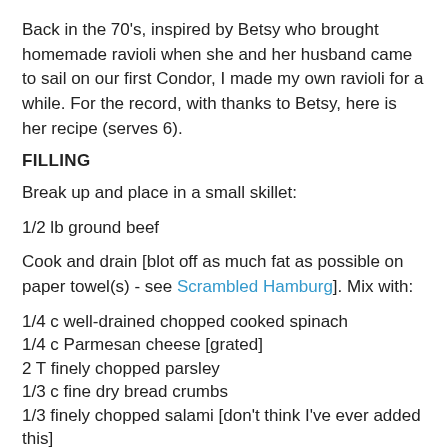Back in the 70's, inspired by Betsy who brought homemade ravioli when she and her husband came to sail on our first Condor, I made my own ravioli for a while. For the record, with thanks to Betsy, here is her recipe (serves 6).
FILLING
Break up and place in a small skillet:
1/2 lb ground beef
Cook and drain [blot off as much fat as possible on paper towel(s) - see Scrambled Hamburg]. Mix with:
1/4 c well-drained chopped cooked spinach
1/4 c Parmesan cheese [grated]
2 T finely chopped parsley
1/3 c fine dry bread crumbs
1/3 finely chopped salami [don't think I've ever added this]
2 eggs slightly beaten
1/4 t salt
Pepper to taste